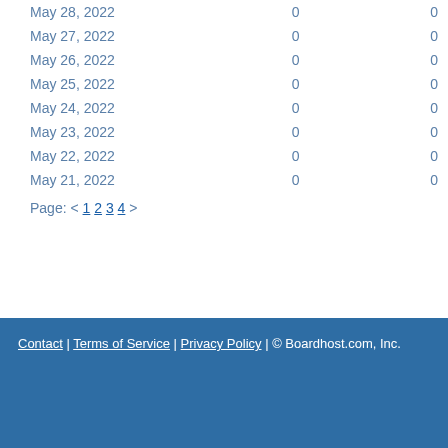| Date |  |  |
| --- | --- | --- |
| May 28, 2022 | 0 | 0 |
| May 27, 2022 | 0 | 0 |
| May 26, 2022 | 0 | 0 |
| May 25, 2022 | 0 | 0 |
| May 24, 2022 | 0 | 0 |
| May 23, 2022 | 0 | 0 |
| May 22, 2022 | 0 | 0 |
| May 21, 2022 | 0 | 0 |
Page: < 1 2 3 4 >
Contact | Terms of Service | Privacy Policy | © Boardhost.com, Inc.